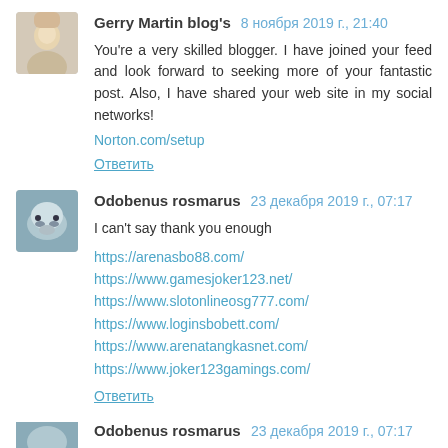[Figure (photo): Avatar photo of a blonde woman]
Gerry Martin blog's 8 ноября 2019 г., 21:40
You're a very skilled blogger. I have joined your feed and look forward to seeking more of your fantastic post. Also, I have shared your web site in my social networks!
Norton.com/setup
Ответить
[Figure (photo): Avatar photo of a walrus]
Odobenus rosmarus 23 декабря 2019 г., 07:17
I can't say thank you enough
https://arenasbo88.com/
https://www.gamesjoker123.net/
https://www.slotonlineosg777.com/
https://www.loginsbobett.com/
https://www.arenatangkasnet.com/
https://www.joker123gamings.com/
Ответить
[Figure (photo): Avatar photo partially visible at bottom]
Odobenus rosmarus 23 декабря 2019 г., 07:17